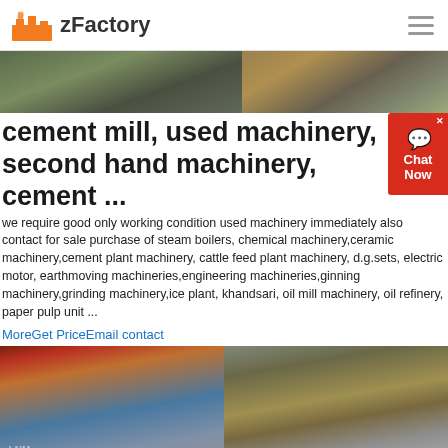zFactory
[Figure (photo): Banner photo of outdoor construction/quarry/mining site with machinery and earthworks, split into two side-by-side images]
cement mill, used machinery, second hand machinery, cement ...
we require good only working condition used machinery immediately also contact for sale purchase of steam boilers, chemical machinery,ceramic machinery,cement plant machinery, cattle feed plant machinery, d.g.sets, electric motor, earthmoving machineries,engineering machineries,ginning machinery,grinding machinery,ice plant, khandsari, oil mill machinery, oil refinery, paper pulp unit ...
MoreGet PriceEmail contact
[Figure (photo): Two side-by-side photos: left shows industrial crusher/conveyor equipment with red metal frame and blue container; right shows a quarry site with a yellow bulldozer/loader moving material near a rocky cliff]